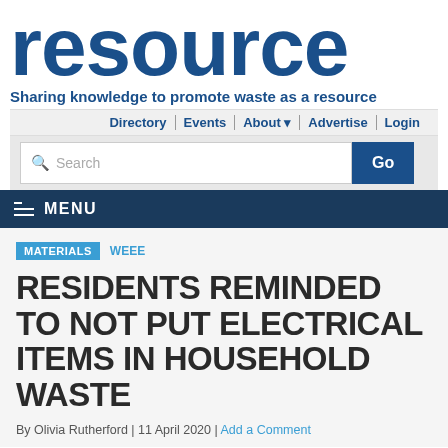resource
Sharing knowledge to promote waste as a resource
Directory | Events | About | Advertise | Login
MENU
MATERIALS   WEEE
RESIDENTS REMINDED TO NOT PUT ELECTRICAL ITEMS IN HOUSEHOLD WASTE
By Olivia Rutherford | 11 April 2020 | Add a Comment